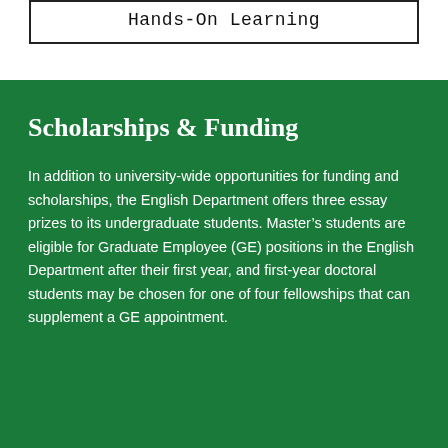Hands-On Learning
Scholarships & Funding
In addition to university-wide opportunities for funding and scholarships, the English Department offers three essay prizes to its undergraduate students. Master's students are eligible for Graduate Employee (GE) positions in the English Department after their first year, and first-year doctoral students may be chosen for one of four fellowships that can supplement a GE appointment.